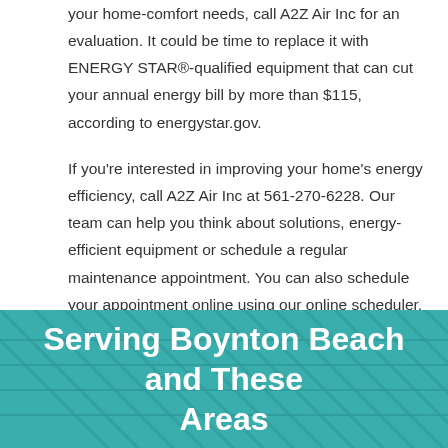your home-comfort needs, call A2Z Air Inc for an evaluation. It could be time to replace it with ENERGY STAR®-qualified equipment that can cut your annual energy bill by more than $115, according to energystar.gov.
If you're interested in improving your home's energy efficiency, call A2Z Air Inc at 561-270-6228. Our team can help you think about solutions, energy-efficient equipment or schedule a regular maintenance appointment. You can also schedule your appointment online using our online scheduler.
Serving Boynton Beach and These Areas